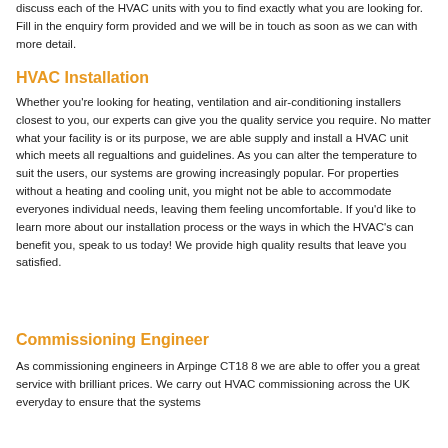discuss each of the HVAC units with you to find exactly what you are looking for. Fill in the enquiry form provided and we will be in touch as soon as we can with more detail.
HVAC Installation
Whether you're looking for heating, ventilation and air-conditioning installers closest to you, our experts can give you the quality service you require. No matter what your facility is or its purpose, we are able supply and install a HVAC unit which meets all regualtions and guidelines. As you can alter the temperature to suit the users, our systems are growing increasingly popular. For properties without a heating and cooling unit, you might not be able to accommodate everyones individual needs, leaving them feeling uncomfortable. If you'd like to learn more about our installation process or the ways in which the HVAC's can benefit you, speak to us today! We provide high quality results that leave you satisfied.
Commissioning Engineer
As commissioning engineers in Arpinge CT18 8 we are able to offer you a great service with brilliant prices. We carry out HVAC commissioning across the UK everyday to ensure that the systems